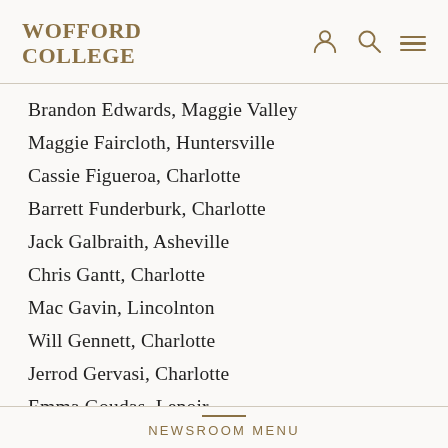WOFFORD COLLEGE
Brandon Edwards, Maggie Valley
Maggie Faircloth, Huntersville
Cassie Figueroa, Charlotte
Barrett Funderburk, Charlotte
Jack Galbraith, Asheville
Chris Gantt, Charlotte
Mac Gavin, Lincolnton
Will Gennett, Charlotte
Jerrod Gervasi, Charlotte
Emma Goudas, Lenoir
Vivian Gregory, Asheville
NEWSROOM MENU